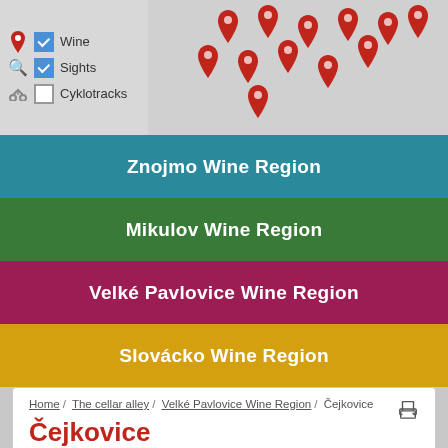[Figure (screenshot): Map with legend showing Wine, Sights (checked), and Cyklotracks (unchecked) options, with red map pins on a gray map background]
Znojmo Wine Region
Mikulov Wine Region
Velké Pavlovice Wine Region
Slovácko Wine Region
Home / The cellar alley / Velké Pavlovice Wine Region / Čejkovice
Čejkovice
The first records of the village are connected